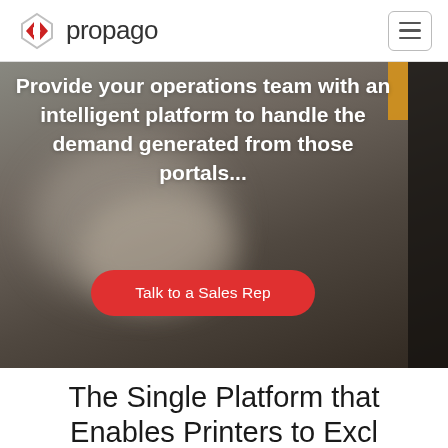[Figure (logo): Propago logo with diamond/arrow icon in red and grey, followed by the text 'propago' in dark grey]
[Figure (photo): Blurred photo of a print/operations facility background with dark overlay. Contains hero headline text and a CTA button.]
Provide your operations team with an intelligent platform to handle the demand generated from those portals...
Talk to a Sales Rep
The Single Platform that Enables Printers to Excl...